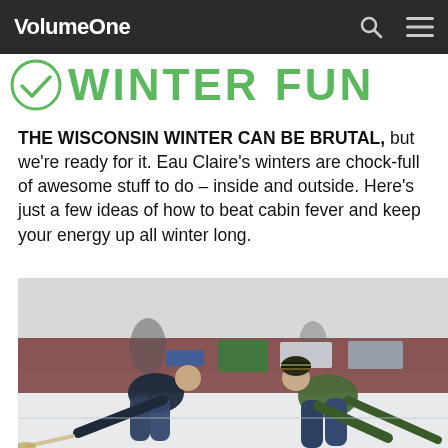VolumeOne
WINTER FUN
THE WISCONSIN WINTER CAN BE BRUTAL, but we're ready for it. Eau Claire's winters are chock-full of awesome stuff to do – inside and outside. Here's just a few ideas of how to beat cabin fever and keep your energy up all winter long.
[Figure (photo): Two people curling on an indoor ice rink, both bent over sweeping with brooms. One wears a dark jacket and jeans, the other wears a green sweater, knit hat, and jeans. Indoor facility with signs visible in the background.]